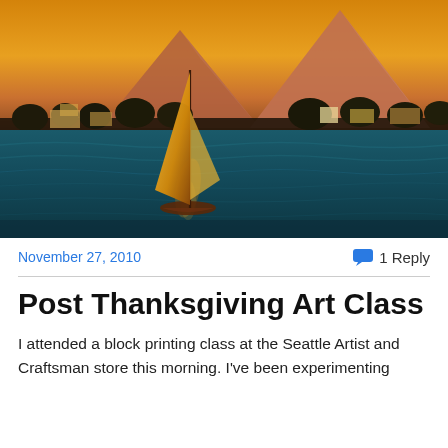[Figure (illustration): Painting of a felucca sailboat on the Nile River with the Egyptian pyramids in the background at sunset. The sky is golden-orange, the water is deep blue-green with reflections, and there are trees and buildings along the riverbank.]
November 27, 2010
1 Reply
Post Thanksgiving Art Class
I attended a block printing class at the Seattle Artist and Craftsman store this morning. I've been experimenting